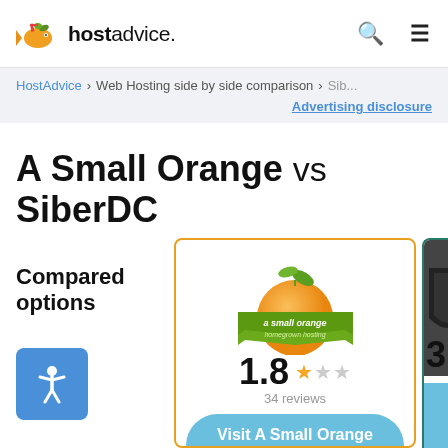hostadvice.
HostAdvice > Web Hosting side by side comparison > Sib...
Advertising disclosure
A Small Orange vs SiberDC
Compared options
[Figure (logo): A Small Orange logo - orange with green leaf and green banner ribbon]
1.8 ★★☆☆☆ 34 reviews
Visit A Small Orange
[Figure (logo): SiberDC logo - dark shield on dark background, partially cut off. Rating 3 visible.]